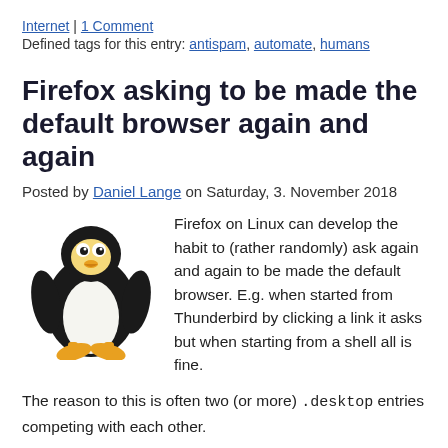Internet | 1 Comment
Defined tags for this entry: antispam, automate, humans
Firefox asking to be made the default browser again and again
Posted by Daniel Lange on Saturday, 3. November 2018
[Figure (illustration): Tux the Linux penguin mascot]
Firefox on Linux can develop the habit to (rather randomly) ask again and again to be made the default browser. E.g. when started from Thunderbird by clicking a link it asks but when starting from a shell all is fine.
The reason to this is often two (or more) .desktop entries competing with each other.
So, walkthrough: (GOTO 10 in case you are sure to have